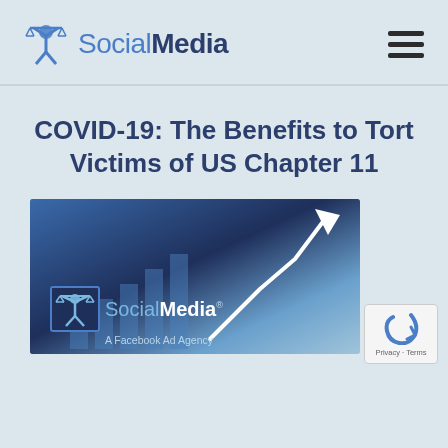SocialMedia
COVID-19: The Benefits to Tort Victims of US Chapter 11
[Figure (logo): XSocialMedia logo — A Facebook Ad Agency banner image with blue gradient background and upward arrow graphic]